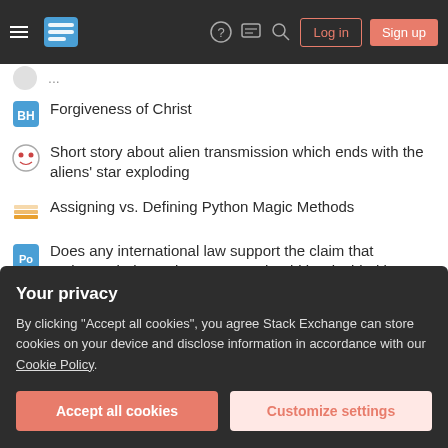Stack Exchange navigation bar with hamburger menu, logo, help, chat, search icons, Log in and Sign up buttons
Forgiveness of Christ
Short story about alien transmission which ends with the aliens' star exploding
Assigning vs. Defining Python Magic Methods
Does any international law support the claim that "Taiwan's independence or not should be decided by Taiwanese people, not by any other country"?
Does it make sense to build a wall to protect a city from radioactive wasteland?
Accusative of Duration of Space
Is this an incorrect draw by chess.com?
Your privacy
By clicking "Accept all cookies", you agree Stack Exchange can store cookies on your device and disclose information in accordance with our Cookie Policy.
How does classical, Newtonian inertia emerge from quantum